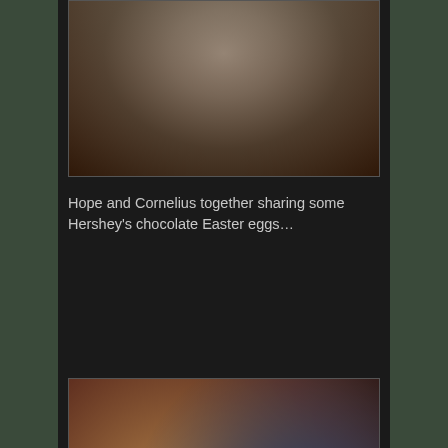[Figure (photo): Close-up photo of what appears to be fabric or bedding, dark browns and tans, blurred/soft focus]
Hope and Cornelius together sharing some Hershey's chocolate Easter eggs…
[Figure (photo): Two teddy bears surrounded by Christmas greenery, one wearing a red sweater and plaid hat, another in denim, with a Hershey's chocolate egg container between them]
This is Jimbo… named after my brother Jim, (his